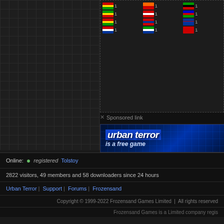[Figure (screenshot): Country flags panel with counts of 1 for each flag, arranged in rows of 3]
X Sponsored link
[Figure (screenshot): Urban Terror advertisement banner - 'urban terror is a free game' on dark blue grid background]
Online: • registered Tolstoy
2822 visitors, 49 members and 58 downloaders since 24 hours
Urban Terror | Support | Forums | Frozensand
Copyright © 1999-2022 Frozensand Games Limited  |  All rights reserved
Frozensand Games is a Limited company regis